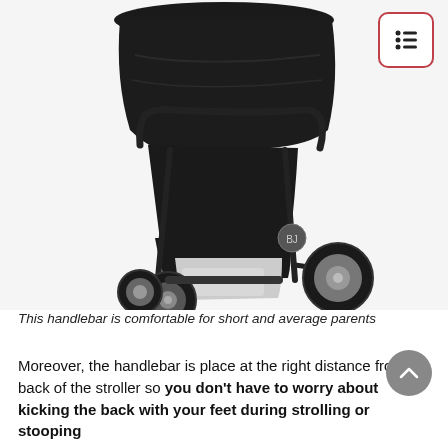[Figure (photo): Black baby stroller with large wheels, canopy extended, shown from a three-quarter front angle on white background]
This handlebar is comfortable for short and average parents
Moreover, the handlebar is place at the right distance from the back of the stroller so you don't have to worry about kicking the back with your feet during strolling or stooping